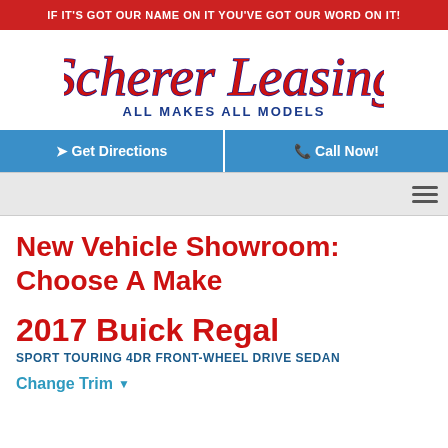IF IT'S GOT OUR NAME ON IT YOU'VE GOT OUR WORD ON IT!
[Figure (logo): Scherer Leasing logo with script text and tagline ALL MAKES ALL MODELS]
Get Directions
Call Now!
New Vehicle Showroom: Choose A Make
2017 Buick Regal
SPORT TOURING 4DR FRONT-WHEEL DRIVE SEDAN
Change Trim